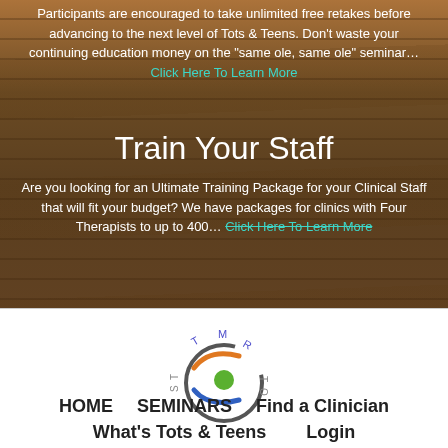Participants are encouraged to take unlimited free retakes before advancing to the next level of Tots & Teens. Don't waste your continuing education money on the "same ole, same ole" seminar… Click Here To Learn More
Train Your Staff
Are you looking for an Ultimate Training Package for your Clinical Staff that will fit your budget? We have packages for clinics with Four Therapists to up to 400… Click Here To Learn More
[Figure (logo): TMR Tots & Teens circular logo with green circle, orange and blue swoosh, and letters TMR TOTS around the outside]
HOME    SEMINARS    Find a Clinician    What's Tots & Teens    Login